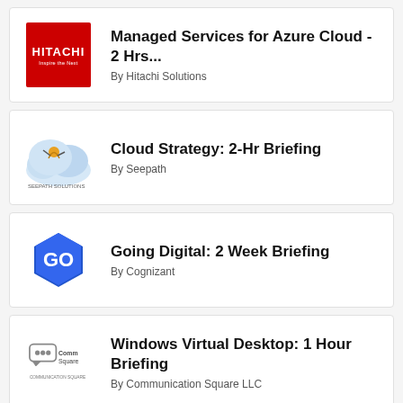[Figure (logo): Hitachi Solutions red square logo]
Managed Services for Azure Cloud - 2 Hrs...
By Hitachi Solutions
[Figure (logo): Seepath cloud logo with bird graphic]
Cloud Strategy: 2-Hr Briefing
By Seepath
[Figure (logo): Cognizant GO blue hexagon logo]
Going Digital: 2 Week Briefing
By Cognizant
[Figure (logo): Communication Square LLC logo]
Windows Virtual Desktop: 1 Hour Briefing
By Communication Square LLC